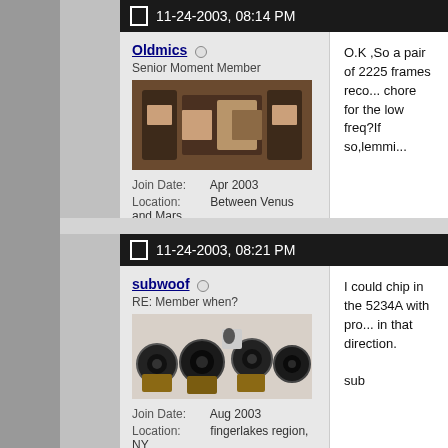11-24-2003, 08:14 PM
Oldmics
Senior Moment Member
[Figure (photo): Photo of vintage audio furniture/speaker cabinets in wood finish]
Join Date: Apr 2003
Location: Between Venus and Mars
Posts: 872
O.K ,So a pair of 2225 frames reco... chore for the low freq?If so,lemmi...
11-24-2003, 08:21 PM
subwoof
RE: Member when?
[Figure (photo): Photo of multiple speaker drivers/woofers, some in boxes]
Join Date: Aug 2003
Location: fingerlakes region, NY
Posts: 1,897
I could chip in the 5234A with pro... in that direction.

sub